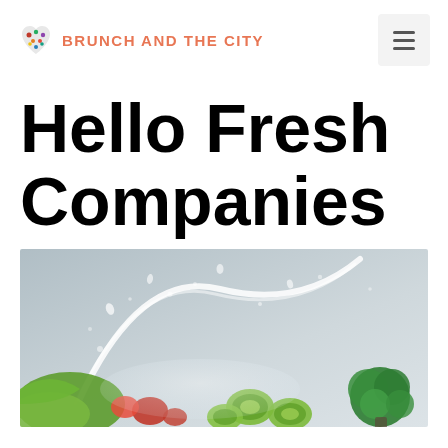BRUNCH AND THE CITY
Hello Fresh Companies
[Figure (photo): Fresh vegetables including sliced cucumbers, red tomatoes, green lettuce, and broccoli with a dramatic water splash against a light blue-grey background]